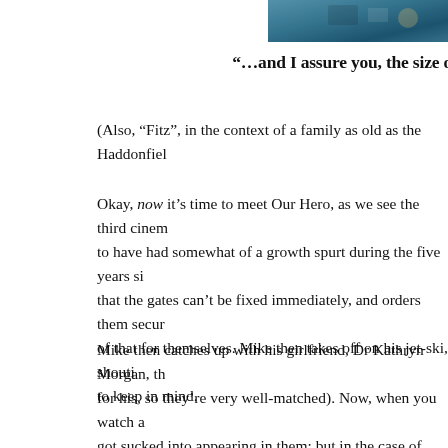[Figure (photo): Partial photo visible in top-right corner, showing what appears to be a colorful scene with blue/teal tones, cropped at the page edge.]
“…and I assure you, the size o
(Also, “Fitz”, in the context of a family as old as the Haddonfiel
Okay, now it’s time to meet Our Hero, as we see the third cinem to have had somewhat of a growth spurt during the five years si that the gates can’t be fixed immediately, and orders them secur of that for themselves. Mike then takes off on his jet-ski, shouti to keep in mind.
Mike then catches up with his girlfriend, Dr Kathryn Morgan, th for his, so they’re very well-matched). Now, when you watch a got sucked into appearing in them; but in the case of Bess Arms chance to spend a large proportion of her screentime interacting a simply adorable fibreglass shark. Heck, for I chance like that, good in a wetsuit as Ms Armstrong does.
Some exposition follows, as we hear of Sean Brody’s impendi